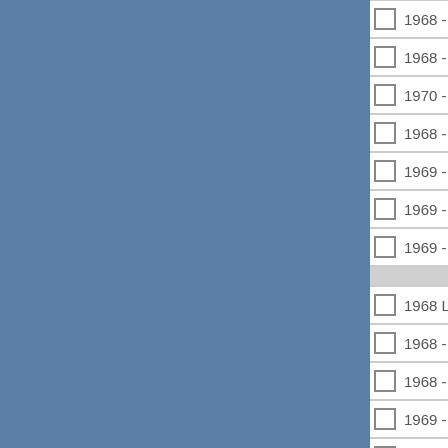1968 - 72 LeMans 4-dr HT Front DOC
1968 - 69 LeMans 4-dr HT Rear DOC
1970 - 72 LeMans 4-dr HT Rear DOC
1968 - 72 LeMans 2-dr Sedan DOC
1969 - 72 LeMans Wagon Front DOC
1969 - 72 LeMans Wagon Rear DOC
1969 - 72 LeMans 2-dr HT / Conv D
1968 LeMans 2-dr Hardtop ROOF R
1968 - 69 LeMans 4-dr Hardtop RO
1968 - 72 LeMans CONVERTIBLE
1969 - 72 LeMans 2-dr Hardtop RO
1970 - 72 LeMans 4-dr Hardtop RO
1968 LeMans Conv. PILLAR POST
1969 - 72 LeMans Conv. PILLAR P
1968 - 72 LeMans 2-dr HT / Conv. WINDOW Seals